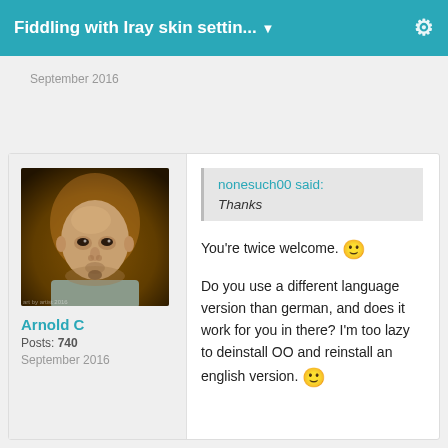Fiddling with Iray skin settin... ▼
September 2016
[Figure (photo): Avatar portrait of a bald man with a goatee wearing a light jacket, rendered in 3D CGI style against a warm background.]
Arnold C
Posts: 740
September 2016
nonesuch00 said:
Thanks
You're twice welcome. 🙂

Do you use a different language version than german, and does it work for you in there? I'm too lazy to deinstall OO and reinstall an english version. 🙂